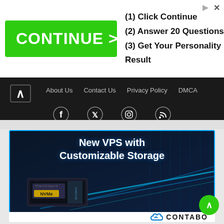[Figure (screenshot): Top advertisement banner with green CONTINUE > button and steps: (1) Click Continue, (2) Answer 20 Questions, (3) Get Your Personality Result]
About Us   Contact Us   Privacy Policy   DMCA
[Figure (infographic): Social media icons: Facebook, Twitter, Instagram, RSS feed on dark background]
[Figure (screenshot): Contabo advertisement: New VPS with Customizable Storage, showing NVMe SSD chip on dark tech background with blue light streaks]
CONTABO